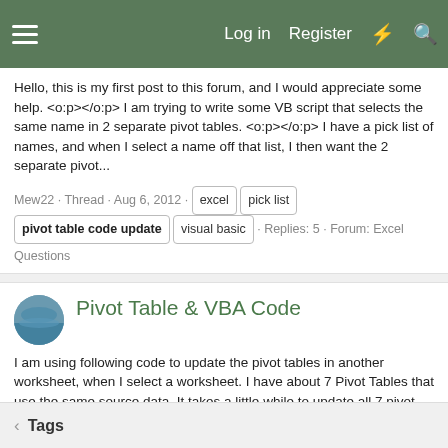Log in  Register
Hello, this is my first post to this forum, and I would appreciate some help. <o:p></o:p> I am trying to write some VB script that selects the same name in 2 separate pivot tables. <o:p></o:p> I have a pick list of names, and when I select a name off that list, I then want the 2 separate pivot...
Mew22 · Thread · Aug 6, 2012 · excel · pick list · pivot table code update · visual basic · Replies: 5 · Forum: Excel Questions
Pivot Table & VBA Code
I am using following code to update the pivot tables in another worksheet, when I select a worksheet. I have about 7 Pivot Tables that use the same source data. It takes a little while to update all 7 pivot tables after I select the sheet. Is it possible to make the update much faster? Privatse...
kishorkhanal · Thread · Sep 15, 2010 · pivot table code update · Replies: 8 · Forum: Excel Questions
Tags